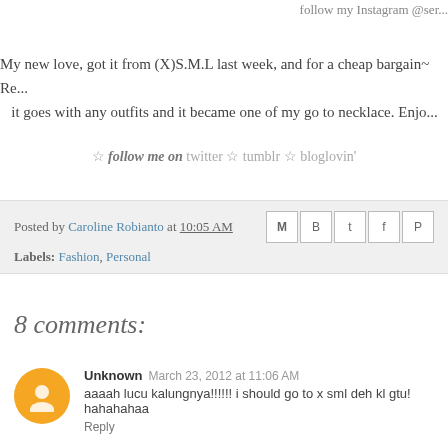follow my Instagram @ser...
My new love, got it from (X)S.M.L last week, and for a cheap bargain~ Re... it goes with any outfits and it became one of my go to necklace. Enjo...
☆ follow me on twitter ☆ tumblr ☆ bloglovin'
Posted by Caroline Robianto at 10:05 AM
Labels: Fashion, Personal
8 comments:
Unknown  March 23, 2012 at 11:06 AM
aaaah lucu kalungnya!!!!!! i should go to x sml deh kl gtu! hahahahaa
Reply
Krasivaya Devushka  March 23, 2012 at 12:58 PM
such a beautiful necklace! it reminds me about the ancient greek's history...
Reply